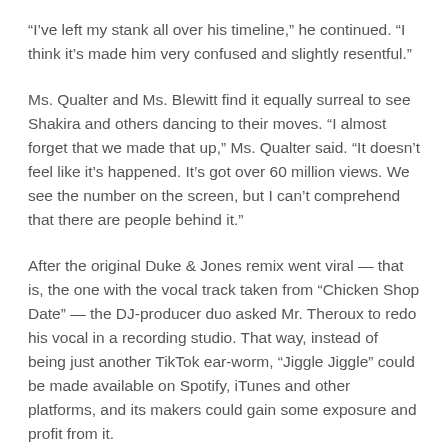“I’ve left my stank all over his timeline,” he continued. “I think it’s made him very confused and slightly resentful.”
Ms. Qualter and Ms. Blewitt find it equally surreal to see Shakira and others dancing to their moves. “I almost forget that we made that up,” Ms. Qualter said. “It doesn’t feel like it’s happened. It’s got over 60 million views. We see the number on the screen, but I can’t comprehend that there are people behind it.”
After the original Duke & Jones remix went viral — that is, the one with the vocal track taken from “Chicken Shop Date” — the DJ-producer duo asked Mr. Theroux to redo his vocal in a recording studio. That way, instead of being just another TikTok ear-worm, “Jiggle Jiggle” could be made available on Spotify, iTunes and other platforms, and its makers could gain some exposure and profit from it.